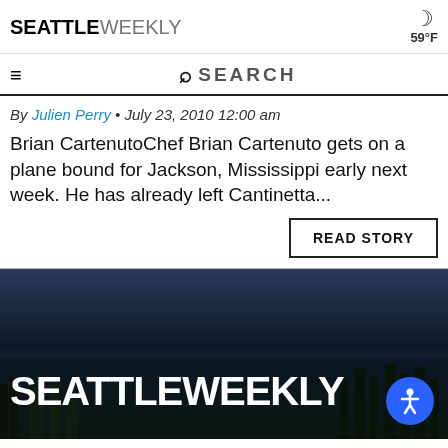SEATTLE WEEKLY — 59°F
By Julien Perry • July 23, 2010 12:00 am
Brian CartenutoChef Brian Cartenuto gets on a plane bound for Jackson, Mississippi early next week. He has already left Cantinetta...
READ STORY
[Figure (photo): Seattle Weekly website screenshot with aerial view of Seattle cityscape at dusk/night with the SEATTLEWEEKLY logo overlaid in large white bold text, and an accessibility icon in the bottom right corner]